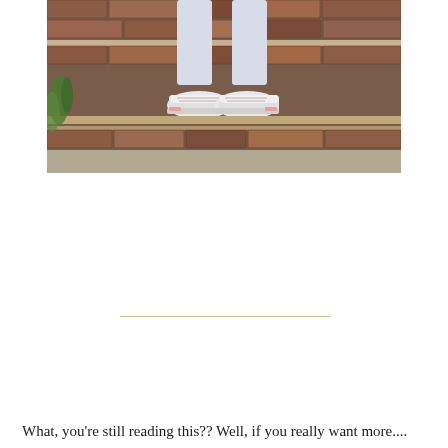[Figure (photo): Photo of a person's lower legs and white sneakers (Converse-style) sitting on weathered brick steps with green weeds visible on the left side.]
What, you're still reading this?? Well, if you really want more....